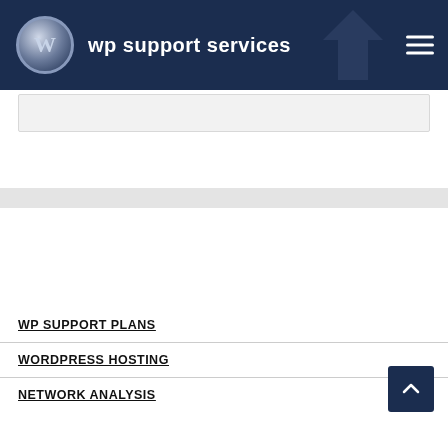wp support services
[Figure (screenshot): Search box area below header]
[Figure (screenshot): Gray navigation bar]
WP SUPPORT PLANS
WORDPRESS HOSTING
NETWORK ANALYSIS